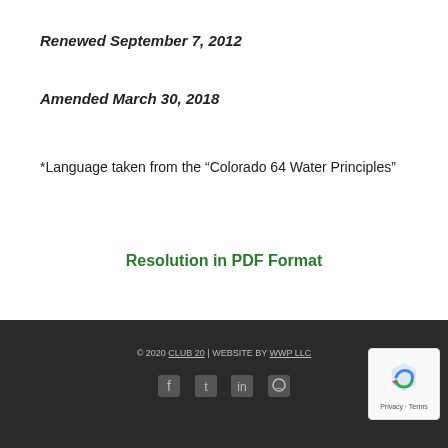Renewed September 7, 2012
Amended March 30, 2018
*Language taken from the “Colorado 64 Water Principles”
Resolution in PDF Format
© 2020 CLUB 20 | WEBSITE BY WWP LLC